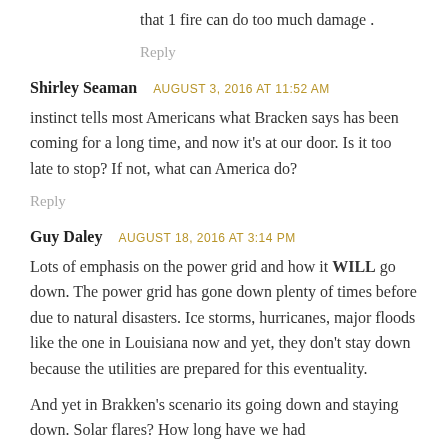that 1 fire can do too much damage .
Reply
Shirley Seaman   AUGUST 3, 2016 AT 11:52 AM
instinct tells most Americans what Bracken says has been coming for a long time, and now it’s at our door. Is it too late to stop? If not, what can America do?
Reply
Guy Daley   AUGUST 18, 2016 AT 3:14 PM
Lots of emphasis on the power grid and how it WILL go down. The power grid has gone down plenty of times before due to natural disasters. Ice storms, hurricanes, major floods like the one in Louisiana now and yet, they don’t stay down because the utilities are prepared for this eventuality.
And yet in Brakken’s scenario its going down and staying down. Solar flares? How long have we had